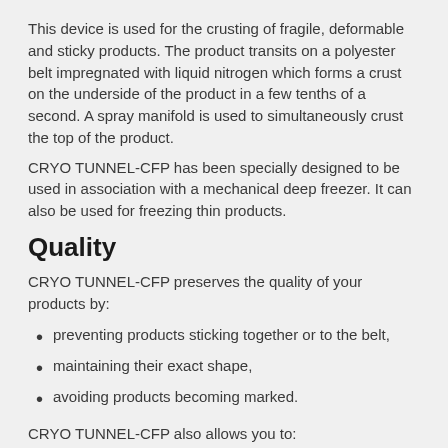This device is used for the crusting of fragile, deformable and sticky products. The product transits on a polyester belt impregnated with liquid nitrogen which forms a crust on the underside of the product in a few tenths of a second. A spray manifold is used to simultaneously crust the top of the product.
CRYO TUNNEL-CFP has been specially designed to be used in association with a mechanical deep freezer. It can also be used for freezing thin products.
Quality
CRYO TUNNEL-CFP preserves the quality of your products by:
preventing products sticking together or to the belt,
maintaining their exact shape,
avoiding products becoming marked.
CRYO TUNNEL-CFP also allows you to:
widen your product range,
simplify your process (slicing, coating).